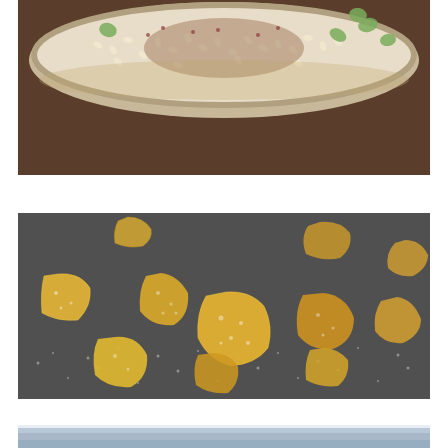[Figure (photo): Close-up of a bowl containing mixed seeds, nuts, and grains including pistachios, sunflower seeds, and other mixed nuts/seeds with brown spice powder on a wooden surface.]
[Figure (photo): Several pieces of sugared crystallized or candied ginger pieces scattered on a dark gray surface dusted with sugar/salt crystals. The pieces are yellow-orange colored with irregular shapes.]
[Figure (photo): Partial view of what appears to be a light blue or white ceramic bowl or cup, bottom portion visible.]